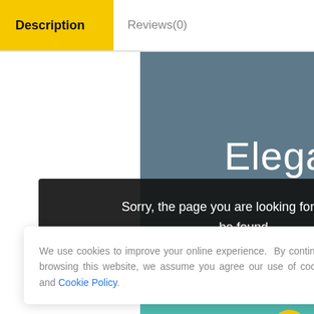Description | Reviews(0)
[Figure (screenshot): Slate blue background panel with large white text beginning 'Elega' (truncated), teal section at bottom right, and floating side icon buttons (cart, support, QR code, messenger)]
Sorry, the page you are looking for could not be found.
We use cookies to improve your online experience. By continuing browsing this website, we assume you agree our use of cookies and Cookie Policy.